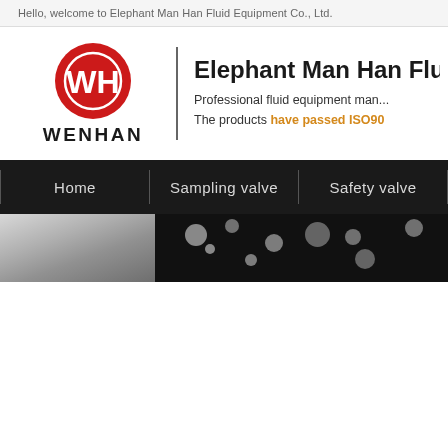Hello, welcome to Elephant Man Han Fluid Equipment Co., Ltd.
[Figure (logo): WENHAN logo: red circle with white WH monogram and WENHAN text below, followed by vertical divider bar, then company name and tagline]
Elephant Man Han Flui
Professional fluid equipment man... The products have passed ISO90...
Home   Sampling valve   Safety valve
[Figure (photo): Two partial images: left shows a metallic/silver surface, right shows dark background with blurred bokeh light spots]